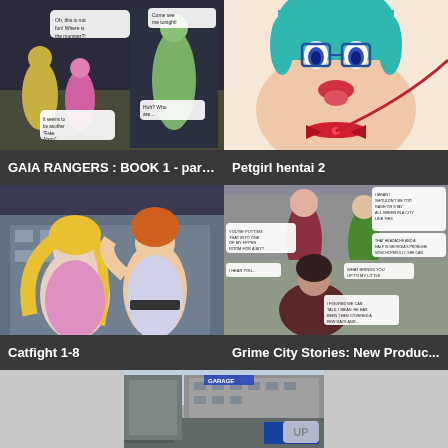[Figure (illustration): Comic book style 3D rendered image with superhero characters, speech bubbles. Title overlay: GAIA RANGERS : BOOK 1 - part 2]
GAIA RANGERS : BOOK 1 - part 2
[Figure (illustration): Anime/hentai style illustration of a character with teal hair and red bow collar. Title overlay: Petgirl hentai 2]
Petgirl hentai 2
[Figure (illustration): 3D rendered catfight scene between two female characters, one in pink, one with orange hair. Title overlay: Catfight 1-8]
Catfight 1-8
[Figure (illustration): 3D rendered comic panels showing characters in city setting with speech bubbles. Title overlay: Grime City Stories: New Produc...]
Grime City Stories: New Produc...
[Figure (photo): 3D rendered city street scene with buildings, garages, parking lot. Partial view, bottom row.]